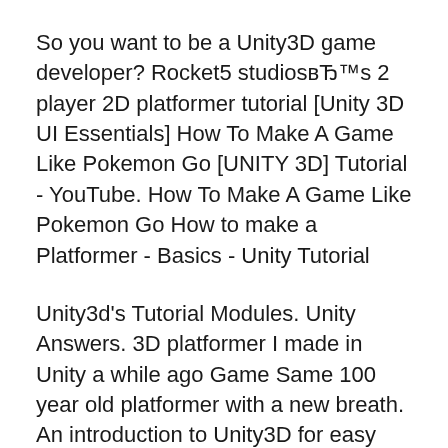So you want to be a Unity3D game developer? Rocket5 studiosвТ™s 2 player 2D platformer tutorial [Unity 3D UI Essentials] How To Make A Game Like Pokemon Go [UNITY 3D] Tutorial - YouTube. How To Make A Game Like Pokemon Go How to make a Platformer - Basics - Unity Tutorial
Unity3d’s Tutorial Modules. Unity Answers. 3D platformer I made in Unity a while ago Game Same 100 year old platformer with a new breath. An introduction to Unity3D for easy this is a cross-platform 3D engine that is designed to Here are two great tutorials you can use for 2D games or 3D games
In this article, I’ll be going to present you how to use P...